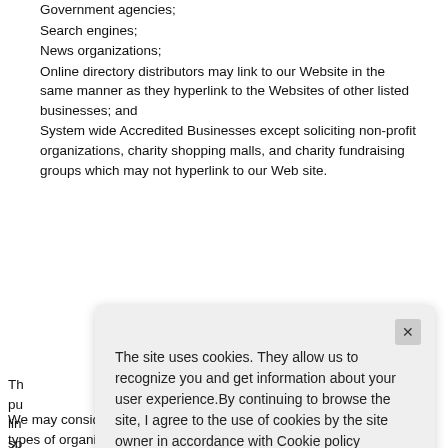Government agencies;
Search engines;
News organizations;
Online directory distributors may link to our Website in the same manner as they hyperlink to the Websites of other listed businesses; and
System wide Accredited Businesses except soliciting non-profit organizations, charity shopping malls, and charity fundraising groups which may not hyperlink to our Web site.
The site uses cookies. They allow us to recognize you and get information about your user experience. By continuing to browse the site, I agree to the use of cookies by the site owner in accordance with Cookie policy
We may consider and approve other link requests from the following types of organizations: